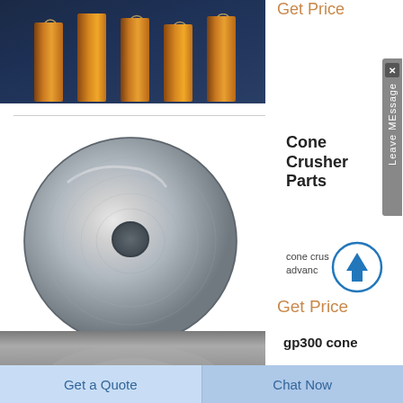[Figure (photo): Gold/bronze colored industrial gear teeth on dark blue background, photographed from above]
Get Price
[Figure (photo): Metallic cone crusher disc/washer part - circular flat disc with center hole, polished metal finish]
Cone Crusher Parts
cone crusher ... of advance...
Get Price
[Figure (photo): Partial view of gp300 cone crusher part, gray metallic surface]
gp300 cone
Leave MEssage
Get a Quote
Chat Now